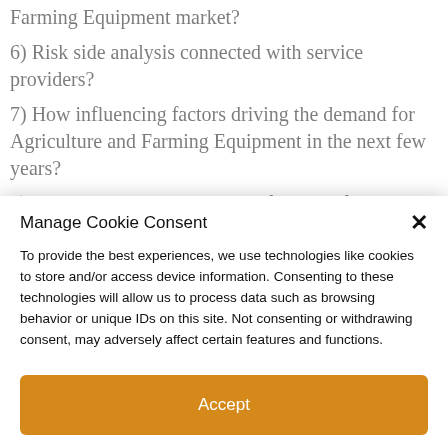Farming Equipment market?
6) Risk side analysis connected with service providers?
7) How influencing factors driving the demand for Agriculture and Farming Equipment in the next few years?
8) What is the impact analysis of various factors in the Agriculture and Farming Equipment market
Manage Cookie Consent
To provide the best experiences, we use technologies like cookies to store and/or access device information. Consenting to these technologies will allow us to process data such as browsing behavior or unique IDs on this site. Not consenting or withdrawing consent, may adversely affect certain features and functions.
Accept